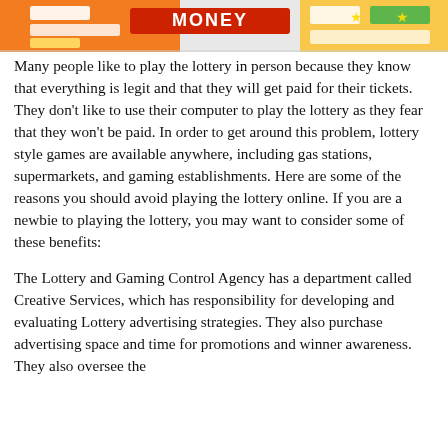[Figure (photo): Colorful lottery tickets and game cards shown from above, with bright orange, yellow, and white colors visible along with partial text including 'MONEY'.]
Many people like to play the lottery in person because they know that everything is legit and that they will get paid for their tickets. They don't like to use their computer to play the lottery as they fear that they won't be paid. In order to get around this problem, lottery style games are available anywhere, including gas stations, supermarkets, and gaming establishments. Here are some of the reasons you should avoid playing the lottery online. If you are a newbie to playing the lottery, you may want to consider some of these benefits:
The Lottery and Gaming Control Agency has a department called Creative Services, which has responsibility for developing and evaluating Lottery advertising strategies. They also purchase advertising space and time for promotions and winner awareness. They also oversee the